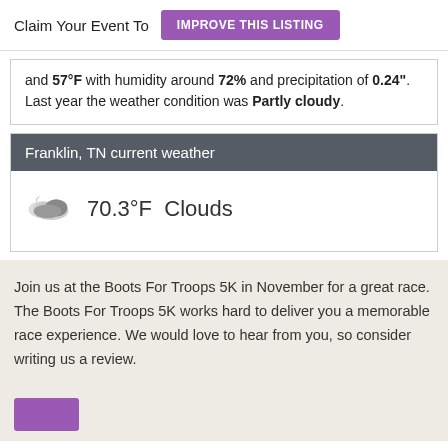Claim Your Event To  IMPROVE THIS LISTING
and 57°F with humidity around 72% and precipitation of 0.24". Last year the weather condition was Partly cloudy.
Franklin, TN current weather
70.3°F Clouds
Join us at the Boots For Troops 5K in November for a great race. The Boots For Troops 5K works hard to deliver you a memorable race experience. We would love to hear from you, so consider writing us a review.